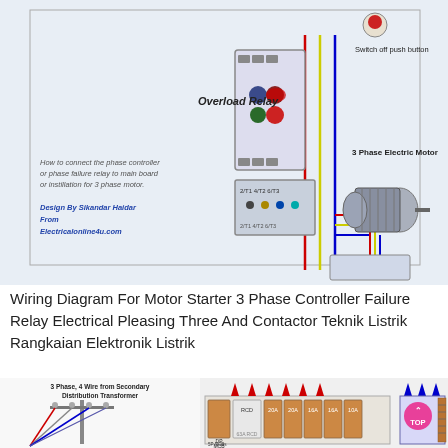[Figure (engineering-diagram): Wiring diagram for 3-phase motor starter with overload relay, phase controller/failure relay, contactor, switch off push button, and 3 phase electric motor. Shows colored wiring connections (red, yellow, blue). Labels include: Overload Relay, Switch off push button, 3 Phase Electric Motor, 'How to connect the phase controller or phase failure relay to main board or installation for 3 phase motor.', 'Design By Sikandar Haidar From Electricalonline4u.com']
Wiring Diagram For Motor Starter 3 Phase Controller Failure Relay Electrical Pleasing Three And Contactor Teknik Listrik Rangkaian Elektronik Listrik
[Figure (engineering-diagram): 3 Phase, 4 Wire from Secondary Distribution Transformer - power line pole diagram]
[Figure (engineering-diagram): Consumer unit / distribution board wiring diagram showing DP MCB, RCD, 63A RCD, 20A, 20A, 16A, 16A, 10A MCBs, and 5P NCBs with red UP arrows indicating incoming supply and blue arrows on the right.]